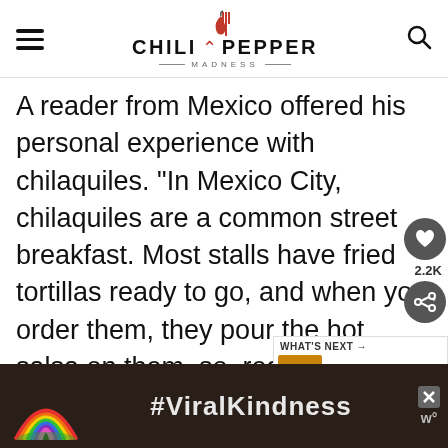CHILI PEPPER MADNESS
A reader from Mexico offered his personal experience with chilaquiles. "In Mexico City, chilaquiles are a common street breakfast. Most stalls have fried tortillas ready to go, and when you order them, they pour the hot salsa on them, so, regardless of how far you go, they won't be a soft paste -which is the way I pref... There's this restaurant near my
[Figure (screenshot): Advertisement banner at the bottom showing a rainbow graphic and the text #ViralKindness on a dark background]